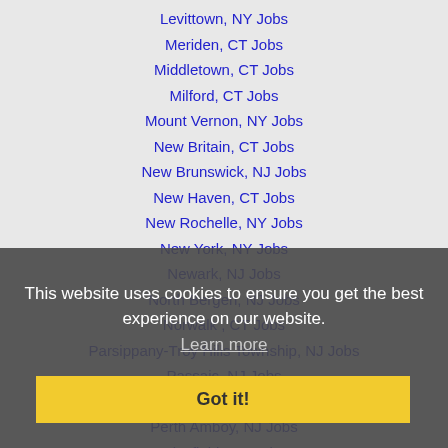Levittown, NY Jobs
Meriden, CT Jobs
Middletown, CT Jobs
Milford, CT Jobs
Mount Vernon, NY Jobs
New Britain, CT Jobs
New Brunswick, NJ Jobs
New Haven, CT Jobs
New Rochelle, NY Jobs
New York, NY Jobs
Newark, NJ Jobs
North Bergen, NJ Jobs
Norwalk , CT Jobs
Parsippany-Troy Hills Township, NJ Jobs
Passaic, NJ Jobs
Paterson, NJ Jobs
Perth Amboy, NJ Jobs
Pittsfield, MA Jobs
This website uses cookies to ensure you get the best experience on our website. Learn more Got it!